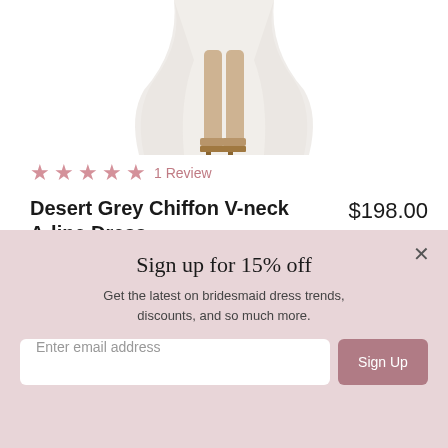[Figure (photo): Bottom portion of a model wearing a light grey/white chiffon A-line dress with open-toe heeled sandals, showing from mid-thigh down]
★★★★★ 1 Review
Desert Grey Chiffon V-neck A-line Dress
$198.00
or 4 interest-free installments of $49.50 by
afterpay ⟳ ?
Style 1700
Sign up for 15% off
Get the latest on bridesmaid dress trends, discounts, and so much more.
Enter email address
Sign Up